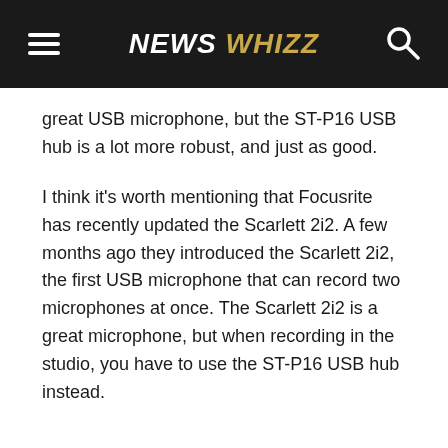NEWS WHIZZ
great USB microphone, but the ST-P16 USB hub is a lot more robust, and just as good.
I think it's worth mentioning that Focusrite has recently updated the Scarlett 2i2. A few months ago they introduced the Scarlett 2i2, the first USB microphone that can record two microphones at once. The Scarlett 2i2 is a great microphone, but when recording in the studio, you have to use the ST-P16 USB hub instead.